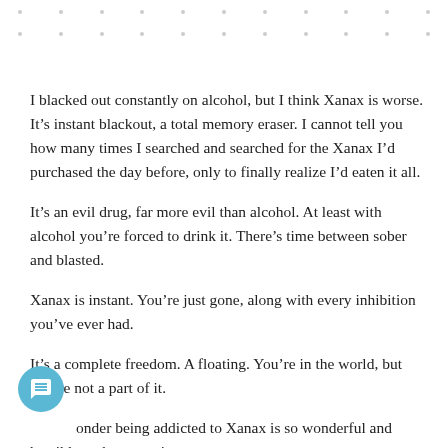I blacked out constantly on alcohol, but I think Xanax is worse. It’s instant blackout, a total memory eraser. I cannot tell you how many times I searched and searched for the Xanax I’d purchased the day before, only to finally realize I’d eaten it all.
It’s an evil drug, far more evil than alcohol. At least with alcohol you’re forced to drink it. There’s time between sober and blasted.
Xanax is instant. You’re just gone, along with every inhibition you’ve ever had.
It’s a complete freedom. A floating. You’re in the world, but you’re not a part of it.
No wonder being addicted to Xanax is so wonderful and horrible at the same time.